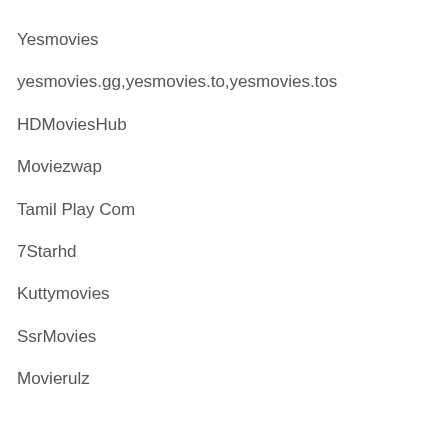Yesmovies
yesmovies.gg,yesmovies.to,yesmovies.tos
HDMoviesHub
Moviezwap
Tamil Play Com
7Starhd
Kuttymovies
SsrMovies
Movierulz